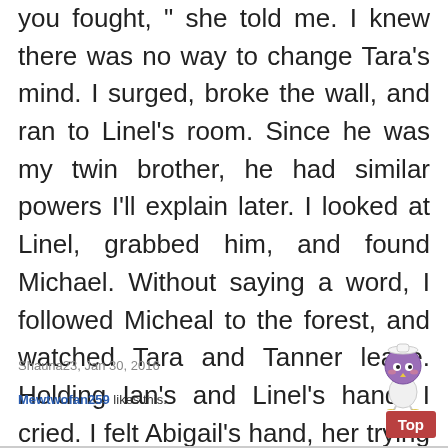you fought, " she told me. I knew there was no way to change Tara's mind. I surged, broke the wall, and ran to Linel's room. Since he was my twin brother, he had similar powers I'll explain later. I looked at Linel, grabbed him, and found Michael. Without saying a word, I followed Micheal to the forest, and watched Tara and Tanner leave. Holding Ian's and Linel's hand, I cried. I felt Abigail's hand, her trying to help me, but it was no use. I sobbed into Linel. Then there was the sound of the car.
Shauna23, Jan 30, 2016
Mewtwofan259 likes this.
[Figure (illustration): Small cartoon bird character wearing a white outfit, standing upright]
Top